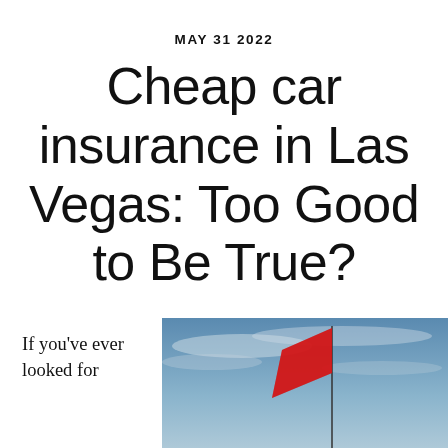MAY 31 2022
Cheap car insurance in Las Vegas: Too Good to Be True?
If you've ever looked for